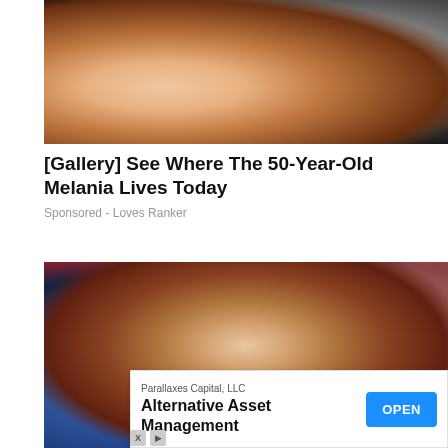[Figure (photo): Close-up photo of a woman in white dress and a man in black suit, warm reddish-orange backlighting]
[Gallery] See Where The 50-Year-Old Melania Lives Today
Sponsored - Loves Ranker
[Figure (photo): A male footballer wearing a red jersey standing on a pitch with blurred crowd in background]
Parallaxes Capital, LLC
Alternative Asset Management
OPEN